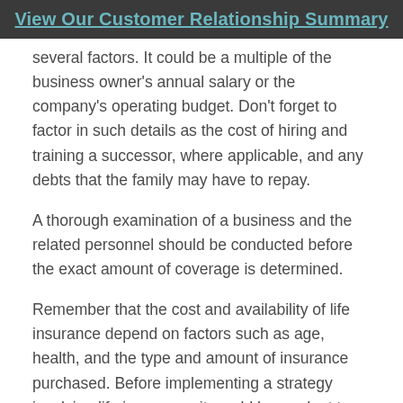View Our Customer Relationship Summary
several factors. It could be a multiple of the business owner's annual salary or the company's operating budget. Don't forget to factor in such details as the cost of hiring and training a successor, where applicable, and any debts that the family may have to repay.
A thorough examination of a business and the related personnel should be conducted before the exact amount of coverage is determined.
Remember that the cost and availability of life insurance depend on factors such as age, health, and the type and amount of insurance purchased. Before implementing a strategy involving life insurance, it would be prudent to make sure that the individual is insurable. As with most financial decisions, there are expenses associated with the purchase of life insurance. Policies commonly have contract limitations, fees, and charges, which can